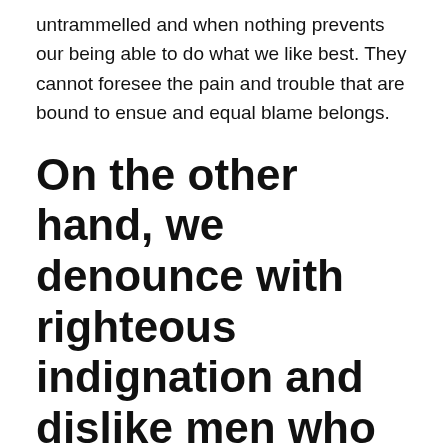untrammelled and when nothing prevents our being able to do what we like best. They cannot foresee the pain and trouble that are bound to ensue and equal blame belongs.
On the other hand, we denounce with righteous indignation and dislike men who are so beguiled and demoralized
that they cannot foresee the pain and trouble that are bound to ensue; and equal blame belongs to those who fail in their duty through weakness of will, which is the same